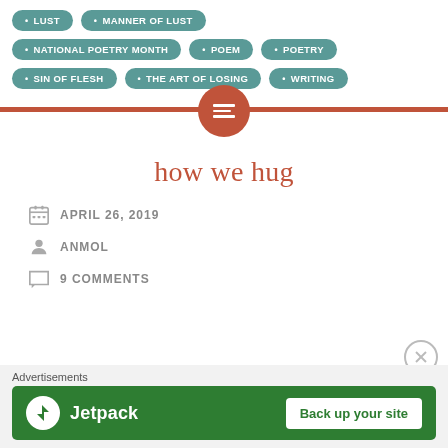LUST
MANNER OF LUST
NATIONAL POETRY MONTH
POEM
POETRY
SIN OF FLESH
THE ART OF LOSING
WRITING
how we hug
APRIL 26, 2019
ANMOL
9 COMMENTS
Advertisements
[Figure (screenshot): Jetpack advertisement banner with logo and 'Back up your site' button on green background]